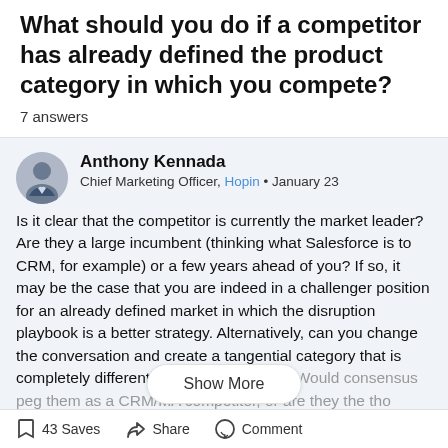What should you do if a competitor has already defined the product category in which you compete?
7 answers
Anthony Kennada
Chief Marketing Officer, Hopin • January 23
Is it clear that the competitor is currently the market leader? Are they a large incumbent (thinking what Salesforce is to CRM, for example) or a few years ahead of you? If so, it may be the case that you are indeed in a challenger position for an already defined market in which the disruption playbook is a better strategy. Alternatively, can you change the conversation and create a tangential category that is completely different? Consider Hubspot. Would consensus peg them as a CRM/MA competitor, or are they the tho...arketing? They
Show More
43 Saves   Share   Comment